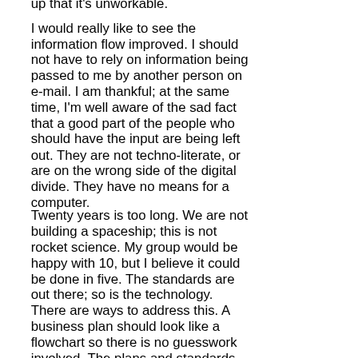up that it's unworkable.
I would really like to see the information flow improved. I should not have to rely on information being passed to me by another person on e-mail. I am thankful; at the same time, I'm well aware of the sad fact that a good part of the people who should have the input are being left out. They are not techno-literate, or are on the wrong side of the digital divide. They have no means for a computer.
Twenty years is too long. We are not building a spaceship; this is not rocket science. My group would be happy with 10, but I believe it could be done in five. The standards are out there; so is the technology. There are ways to address this. A business plan should look like a flowchart so there is no guesswork involved. The plans and standards are good. The fines are substantial. It identifies that